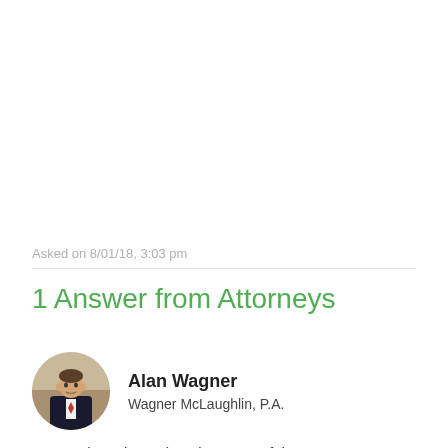Asked on 8/01/18, 3:03 pm
1 Answer from Attorneys
[Figure (photo): Circular headshot photo of attorney Alan Wagner in a dark suit with red tie]
Alan Wagner
Wagner McLaughlin, P.A.
Your options depend on the terms of the